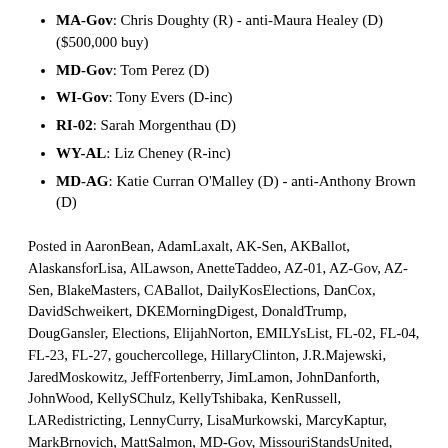MA-Gov: Chris Doughty (R) - anti-Maura Healey (D) ($500,000 buy)
MD-Gov: Tom Perez (D)
WI-Gov: Tony Evers (D-inc)
RI-02: Sarah Morgenthau (D)
WY-AL: Liz Cheney (R-inc)
MD-AG: Katie Curran O'Malley (D) - anti-Anthony Brown (D)
Posted in AaronBean, AdamLaxalt, AK-Sen, AKBallot, AlaskansforLisa, AlLawson, AnetteTaddeo, AZ-01, AZ-Gov, AZ-Sen, BlakeMasters, CABallot, DailyKosElections, DanCox, DavidSchweikert, DKEMorningDigest, DonaldTrump, DougGansler, Elections, ElijahNorton, EMILYsList, FL-02, FL-04, FL-23, FL-27, gouchercollege, HillaryClinton, J.R.Majewski, JaredMoskowitz, JeffFortenberry, JimLamon, JohnDanforth, JohnWood, KellySChulz, KellyTshibaka, KenRussell, LARedistricting, LennyCurry, LisaMurkowski, MarcyKaptur, MarkBrnovich, MattSalmon, MD-Gov, MissouriStandsUnited, MO-Sen, NealDunn, NV-Sen, OH-09, PaolaTullianiZen, PattyMurray, PeterFranchot, PlannedParenthood, RonJohnson, SachsMedia, SEAPollingandStrategicDecision,